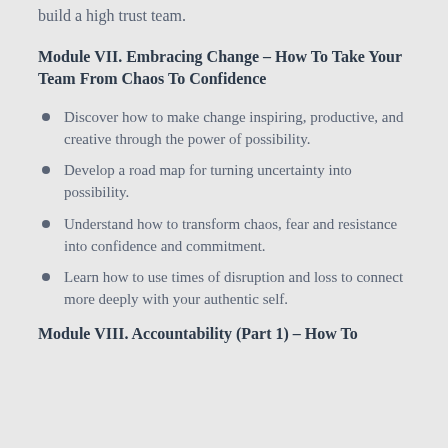Discover the core leadership skills required to build a high trust team.
Module VII. Embracing Change – How To Take Your Team From Chaos To Confidence
Discover how to make change inspiring, productive, and creative through the power of possibility.
Develop a road map for turning uncertainty into possibility.
Understand how to transform chaos, fear and resistance into confidence and commitment.
Learn how to use times of disruption and loss to connect more deeply with your authentic self.
Module VIII. Accountability (Part 1) – How To